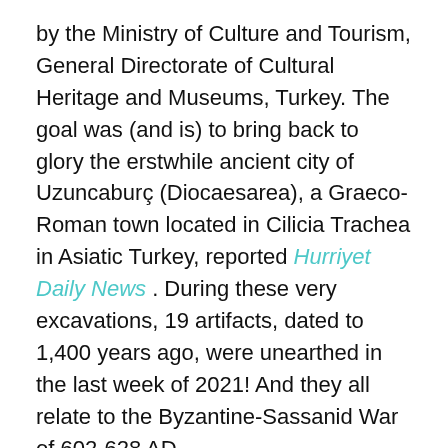by the Ministry of Culture and Tourism, General Directorate of Cultural Heritage and Museums, Turkey. The goal was (and is) to bring back to glory the erstwhile ancient city of Uzuncaburç (Diocaesarea), a Graeco-Roman town located in Cilicia Trachea in Asiatic Turkey, reported Hurriyet Daily News . During these very excavations, 19 artifacts, dated to 1,400 years ago, were unearthed in the last week of 2021! And they all relate to the Byzantine-Sassanid War of 602-628 AD.
The Byzantine-Sassanid War artifacts found in rapid succession at the end of 2021 included a skeleton, a necklace, pendant, chain, earring, and an amulet with a bracelet and a chain. These were all discovered in an inner room during the restoration and excavation works of the 23-meter (75.4 feet) tower in the ancient